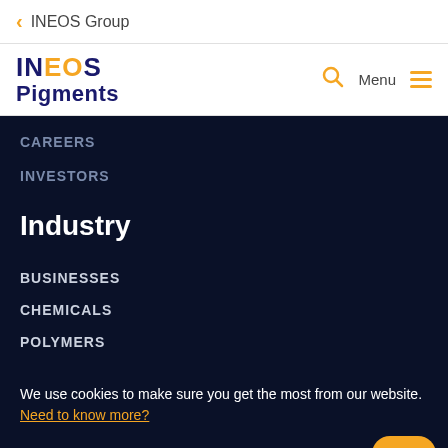< INEOS Group
[Figure (logo): INEOS Pigments logo with search icon and menu hamburger]
CAREERS
INVESTORS
Industry
BUSINESSES
CHEMICALS
POLYMERS
We use cookies to make sure you get the most from our website. Need to know more?
OK